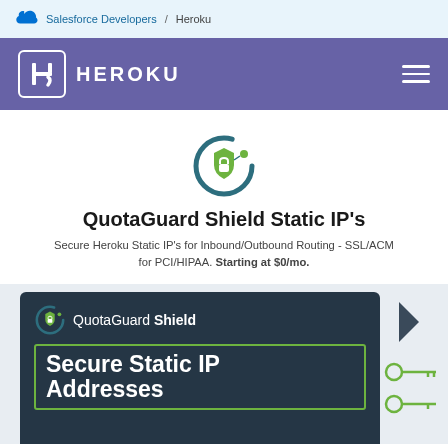Salesforce Developers / Heroku
[Figure (logo): Heroku purple navigation bar with Heroku logo and hamburger menu]
[Figure (logo): QuotaGuard Shield logo icon - circular design with shield and lock in green and dark teal]
QuotaGuard Shield Static IP's
Secure Heroku Static IP's for Inbound/Outbound Routing - SSL/ACM for PCI/HIPAA. Starting at $0/mo.
[Figure (screenshot): QuotaGuard Shield product preview card showing dark navy background with green QuotaGuard Shield logo, QuotaGuard Shield brand name, and 'Secure Static IP Addresses' text in white on dark background with green border box]